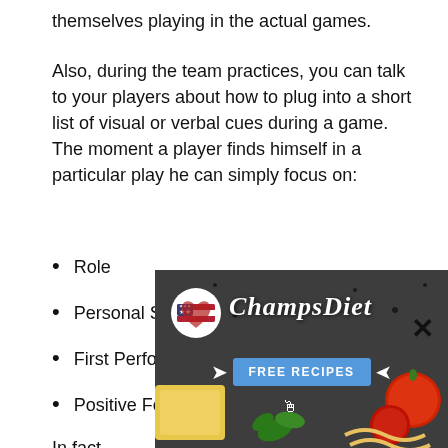themselves playing in the actual games.
Also, during the team practices, you can talk to your players about how to plug into a short list of visual or verbal cues during a game. The moment a player finds himself in a particular play he can simply focus on:
Role
Personal Strength
First Performance Objective
Positive Feeling
In fact, during practice when the team is scrimmaging, you ca... ll a player... player... rehea...
[Figure (advertisement): ChampsDiet advertisement banner with logo, food images (cheese, tomatoes, pasta, herbs), and a FREE RECIPES button with arrows. Dark background with food items scattered around.]